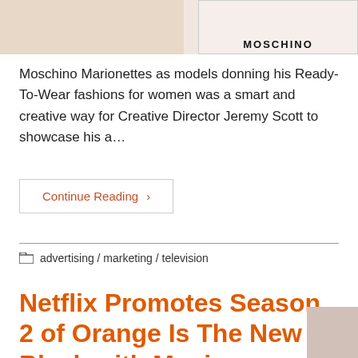[Figure (photo): Fashion photo split: left side shows legs with heels on beige background, right side shows a Moschino branded image with 'MOSCHINO' text label below a figure in pink/nude dress]
Moschino Marionettes as models donning his Ready-To-Wear fashions for women was a smart and creative way for Creative Director Jeremy Scott to showcase his a…
Continue Reading ›
advertising / marketing / television
Netflix Promotes Season 2 of Orange Is The New Black with Moving Posters.